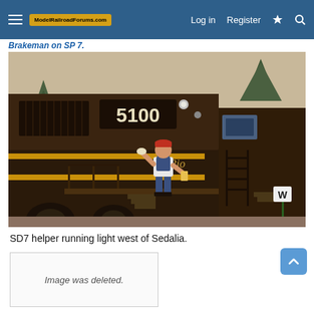ModelRailroadForums.com  Log in  Register
Brakeman on SP 7.
[Figure (photo): Model railroad scene showing a Denver & Rio Grande Western SD7 locomotive numbered 5100 in dark brown with gold stripes. A model figure of a brakeman in blue overalls and red cap stands on the locomotive steps, waving. A 'W' whistle post sign is visible in the foreground right. The background shows a model landscape of hills and trees.]
SD7 helper running light west of Sedalia.
[Figure (other): Image was deleted placeholder box]